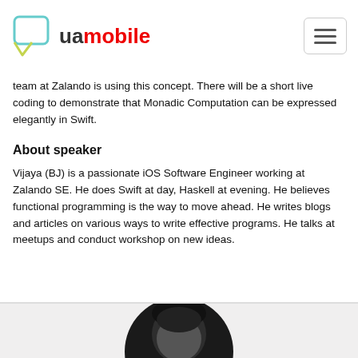uamobile
team at Zalando is using this concept. There will be a short live coding to demonstrate that Monadic Computation can be expressed elegantly in Swift.
About speaker
Vijaya (BJ) is a passionate iOS Software Engineer working at Zalando SE. He does Swift at day, Haskell at evening. He believes functional programming is the way to move ahead. He writes blogs and articles on various ways to write effective programs. He talks at meetups and conduct workshop on new ideas.
[Figure (photo): Black and white circular portrait photo of speaker (top of head and face partially visible, cropped circle)]